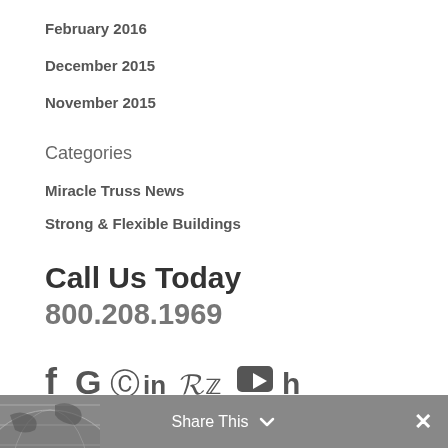February 2016
December 2015
November 2015
Categories
Miracle Truss News
Strong & Flexible Buildings
Call Us Today
800.208.1969
[Figure (infographic): Social media icons: Facebook, Google, Instagram, LinkedIn, Pinterest, Twitter, YouTube, Houzz]
Share This ✓  ✕